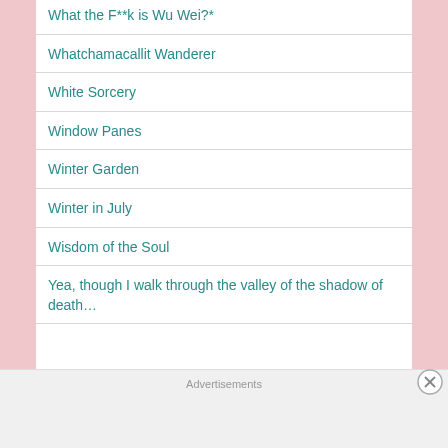What the F**k is Wu Wei?*
Whatchamacallit Wanderer
White Sorcery
Window Panes
Winter Garden
Winter in July
Wisdom of the Soul
Yea, though I walk through the valley of the shadow of death…
Advertisements